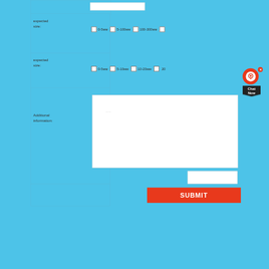expected size:
0-5мм  5-100мм  100-300мм
expected size:
0-5мм  5-10мм  10-20мм  20
Additional information:
...
SUBMIT
[Figure (screenshot): Chat Now widget overlay with red circle icon and black pentagon label]